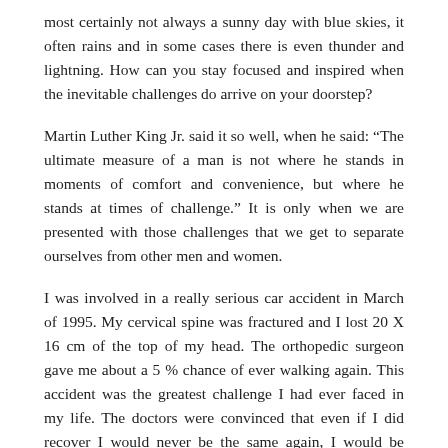most certainly not always a sunny day with blue skies, it often rains and in some cases there is even thunder and lightning. How can you stay focused and inspired when the inevitable challenges do arrive on your doorstep?
Martin Luther King Jr. said it so well, when he said: “The ultimate measure of a man is not where he stands in moments of comfort and convenience, but where he stands at times of challenge.” It is only when we are presented with those challenges that we get to separate ourselves from other men and women.
I was involved in a really serious car accident in March of 1995. My cervical spine was fractured and I lost 20 X 16 cm of the top of my head. The orthopedic surgeon gave me about a 5 % chance of ever walking again. This accident was the greatest challenge I had ever faced in my life. The doctors were convinced that even if I did recover I would never be the same again, I would be disfigured and have physical challenges for the rest of my life.
What the doctors could not diagnose was my positive attitude, positive will and determination. As it actually ended